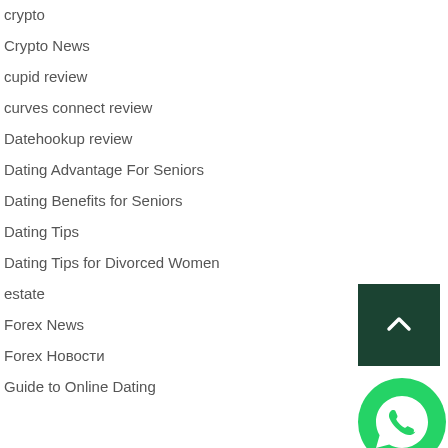crypto
Crypto News
cupid review
curves connect review
Datehookup review
Dating Advantage For Seniors
Dating Benefits for Seniors
Dating Tips
Dating Tips for Divorced Women
estate
Forex News
Forex Новости
Guide to Online Dating
[Figure (other): Back to top button — dark green square with upward chevron arrow]
[Figure (other): WhatsApp contact button — green circle with phone handset icon]